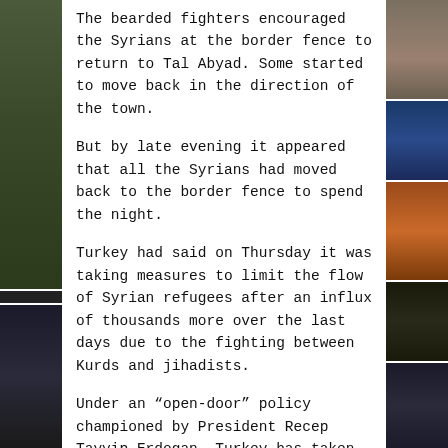[Figure (photo): Left side column of news photos, top portion showing outdoor/nature scene]
[Figure (photo): Left side column of news photos, bottom portion showing dark scene]
[Figure (photo): Right side column of news photos: multiple images including building, emblems, fire/protest, night scenes]
The bearded fighters encouraged the Syrians at the border fence to return to Tal Abyad. Some started to move back in the direction of the town.
But by late evening it appeared that all the Syrians had moved back to the border fence to spend the night.
Turkey had said on Thursday it was taking measures to limit the flow of Syrian refugees after an influx of thousands more over the last days due to the fighting between Kurds and jihadists.
Under an “open-door” policy championed by President Recep Tayyip Erdogan, Turkey has taken in 1.8 million Syrian refugees since the conflict in Syria erupted in 2011.
But Deputy Prime Minister Numan Kurtulmus said at Akcakale crossing on Thursday that new entries would only be considered in case of a humanitarian tragedy.